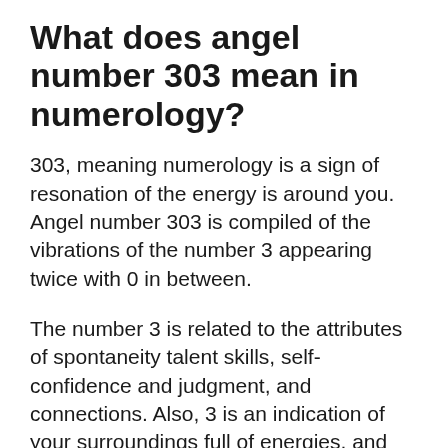What does angel number 303 mean in numerology?
303, meaning numerology is a sign of resonation of the energy is around you. Angel number 303 is compiled of the vibrations of the number 3 appearing twice with 0 in between.
The number 3 is related to the attributes of spontaneity talent skills, self-confidence and judgment, and connections. Also, 3 is an indication of your surroundings full of energies, and the number 0 magnifies the development of one’s spirituality.
By sending you Angel number 303, your angels are helping you in finding peace and